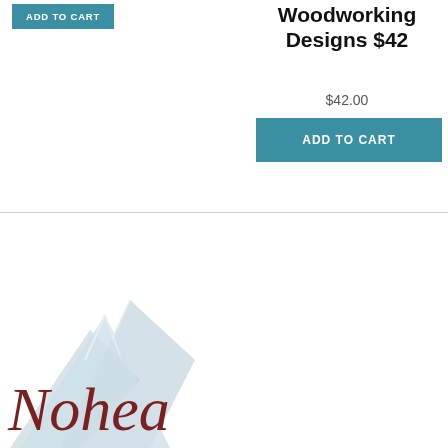ADD TO CART
Woodworking Designs $42
$42.00
ADD TO CART
[Figure (logo): Nohea brand logo with light blue mountain shapes and dark red italic cursive text reading 'Nohea']